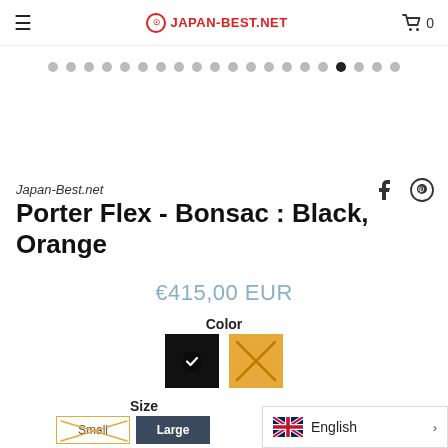JAPAN-BEST.NET  0
[Figure (other): Carousel dots / slider pagination indicators: 15 dots in first row (light grey), 5 dots in second row with one dark/active dot]
Japan-Best.net
Porter Flex - Bonsac : Black, Orange
€415,00 EUR
Color
[Figure (other): Two color swatches: black square with white checkmark (selected), orange square with X overlay]
Size
[Figure (other): Size buttons: Small (outlined, X pattern overlay indicating unavailable) and Large (filled dark blue)]
English